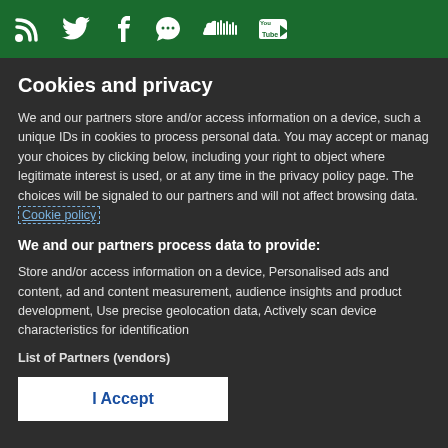[Figure (other): Green header bar with social media icons: RSS feed, Twitter bird, Facebook f, speech bubble/chat, SoundCloud waves, YouTube logo]
Cookies and privacy
We and our partners store and/or access information on a device, such as unique IDs in cookies to process personal data. You may accept or manage your choices by clicking below, including your right to object where legitimate interest is used, or at any time in the privacy policy page. These choices will be signaled to our partners and will not affect browsing data. Cookie policy
We and our partners process data to provide:
Store and/or access information on a device, Personalised ads and content, ad and content measurement, audience insights and product development, Use precise geolocation data, Actively scan device characteristics for identification
List of Partners (vendors)
I Accept